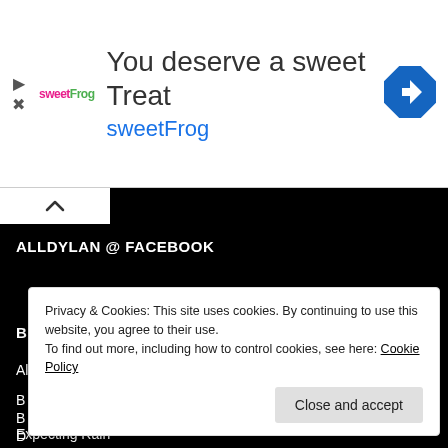[Figure (infographic): Advertisement banner for sweetFrog frozen yogurt. Shows sweetFrog logo on left, large text 'You deserve a sweet Treat' and 'sweetFrog' in blue, with a blue diamond navigation icon on the right. Play and close icons on far left.]
ALLDYLAN @ FACEBOOK
BLOGROLL
Alldylan's Facebook Page
Privacy & Cookies: This site uses cookies. By continuing to use this website, you agree to their use.
To find out more, including how to control cookies, see here: Cookie Policy
Expecting Rain